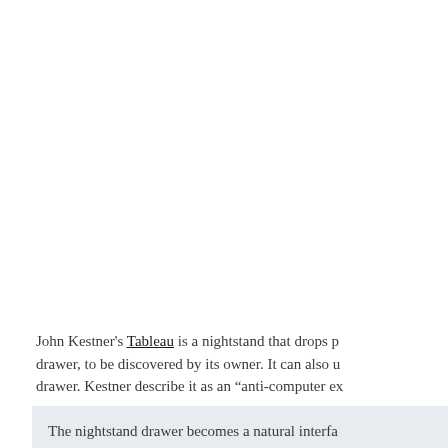John Kestner's Tableau is a nightstand that drops p... drawer, to be discovered by its owner. It can also u... drawer. Kestner describe it as an "anti-computer ex...
The nightstand drawer becomes a natural interfa... which now fits into the flow of life.